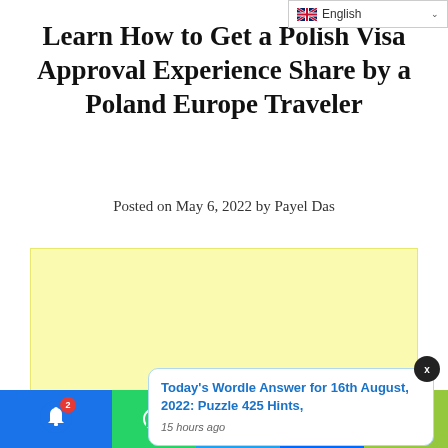English
Learn How to Get a Polish Visa Approval Experience Share by a Poland Europe Traveler
Posted on May 6, 2022 by Payel Das
[Figure (other): Yellow advertisement placeholder block]
Today's Wordle Answer for 16th August, 2022: Puzzle 425 Hints,
15 hours ago